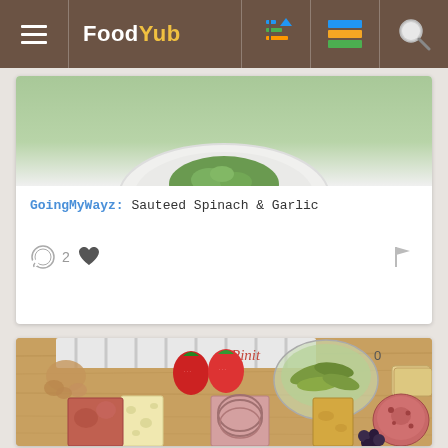FoodYub
[Figure (screenshot): Partial view of a plate with green food (sauteed spinach) on white plate, top portion visible]
GoingMyWayz: Sauteed Spinach & Garlic
[Figure (photo): Charcuterie board with sliced meats (salami), cheeses (swiss, aged), strawberries, pickles in glass bowl, crackers, nuts, and blackberry on wooden board. Pin it overlay visible at top.]